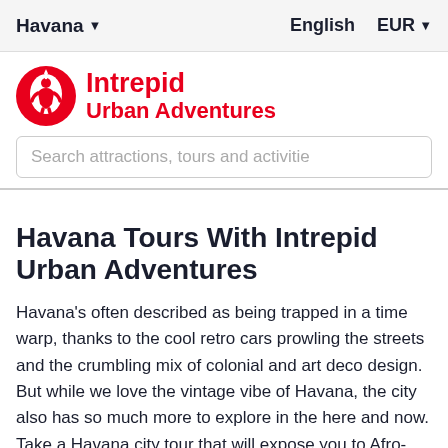Havana | English | EUR
[Figure (logo): Intrepid Urban Adventures logo — red circular icon with stylized figure and the text 'Intrepid Urban Adventures' in red]
Search attractions, tours and activities
Havana Tours With Intrepid Urban Adventures
Havana's often described as being trapped in a time warp, thanks to the cool retro cars prowling the streets and the crumbling mix of colonial and art deco design. But while we love the vintage vibe of Havana, the city also has so much more to explore in the here and now. Take a Havana city tour that will expose you to Afro-Cuban religion, show you the broken beauty that defines the city's spectacular, UNESCO-designated architecture, and teach you